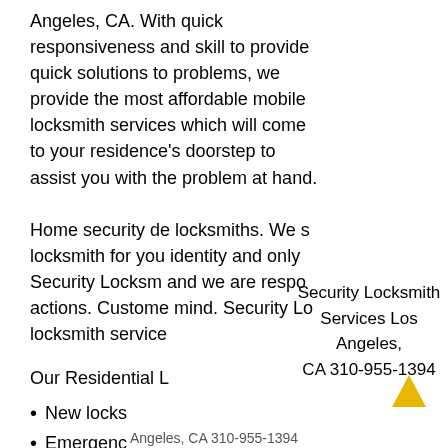Angeles, CA. With quick responsiveness and skill to provide quick solutions to problems, we provide the most affordable mobile locksmith services which will come to your residence's doorstep to assist you with the problem at hand.
Home security de locksmiths. We s locksmith for you identity and only Security Locksm and we are respo actions. Custome mind. Security Lo locksmith service
[Figure (infographic): Overlay box showing Security Locksmith Services Los Angeles, CA 310-955-1394]
Our Residential L
New locks
Emergenc
Angeles, CA 310-955-1394